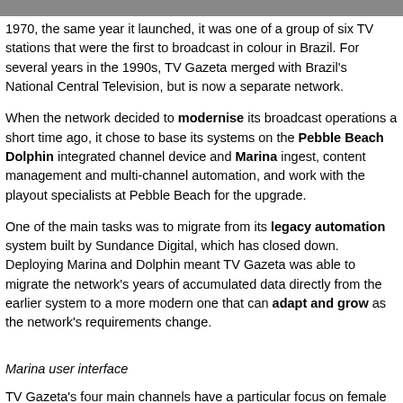1970, the same year it launched, it was one of a group of six TV stations that were the first to broadcast in colour in Brazil. For several years in the 1990s, TV Gazeta merged with Brazil's National Central Television, but is now a separate network.
When the network decided to modernise its broadcast operations a short time ago, it chose to base its systems on the Pebble Beach Dolphin integrated channel device and Marina ingest, content management and multi-channel automation, and work with the playout specialists at Pebble Beach for the upgrade.
One of the main tasks was to migrate from its legacy automation system built by Sundance Digital, which has closed down. Deploying Marina and Dolphin meant TV Gazeta was able to migrate the network's years of accumulated data directly from the earlier system to a more modern one that can adapt and grow as the network's requirements change.
Marina user interface
TV Gazeta's four main channels have a particular focus on female